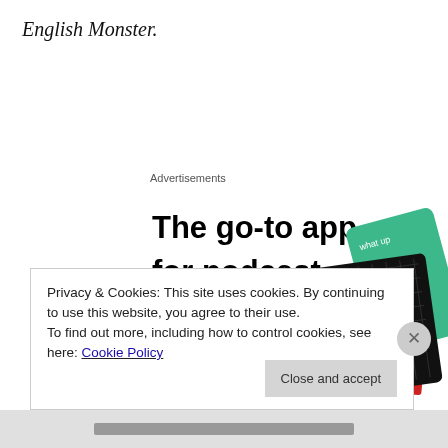English Monster.
Advertisements
[Figure (infographic): Advertisement banner for a podcast app showing the text 'The go-to app for podcast lovers.' with a red 'Download now' call to action and podcast cover art including a black card reading '99% INVISIBLE' with yellow text, a green card, and a blue card.]
Privacy & Cookies: This site uses cookies. By continuing to use this website, you agree to their use.
To find out more, including how to control cookies, see here: Cookie Policy
Close and accept